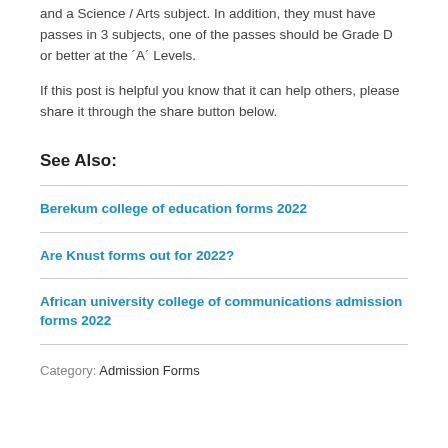and a Science / Arts subject. In addition, they must have passes in 3 subjects, one of the passes should be Grade D or better at the ´A´ Levels.
If this post is helpful you know that it can help others, please share it through the share button below.
See Also:
Berekum college of education forms 2022
Are Knust forms out for 2022?
African university college of communications admission forms 2022
Category: Admission Forms